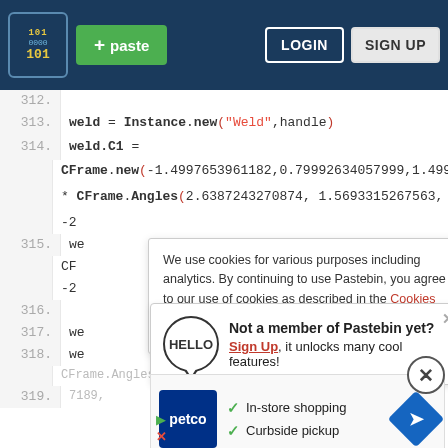Pastebin header with logo, paste button, LOGIN and SIGN UP
312.
313.  weld = Instance.new("Weld",handle)
314.  weld.C1 =
CFrame.new(-1.4997653961182,0.79992634057999,1.4998...
* CFrame.Angles(2.6387243270874, 1.5693315267563,
-2
315. we
CF
-2
316.
317. we
318. we
CFrame.Angles(0.36532132122884, -0.32943626557189,
319.
Cookie banner: We use cookies for various purposes including analytics. By continuing to use Pastebin, you agree to our use of cookies as described in the Cookies Policy. OK, I Understand
Not a member of Pastebin yet? Sign Up, it unlocks many cool features!
[Figure (other): Petco advertisement with logo, In-store shopping and Curbside pickup checkmarks, and navigation arrow]